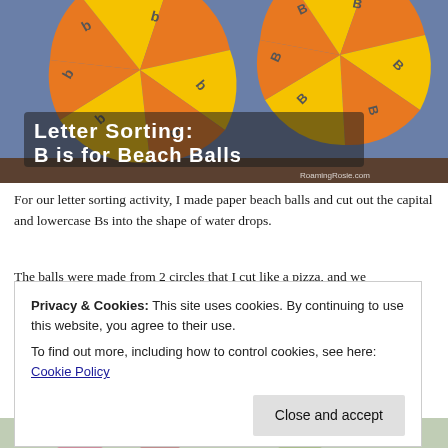[Figure (photo): Photo of paper beach balls craft activity with orange and yellow sections. Large and small B and b letter cutouts in water drop shapes on blue background. Text overlay reads 'Letter Sorting: B is for Beach Balls' with RoamingRosie.com watermark.]
For our letter sorting activity, I made paper beach balls and cut out the capital and lowercase Bs into the shape of water drops.
The balls were made from 2 circles that I cut like a pizza, and we
Privacy & Cookies: This site uses cookies. By continuing to use this website, you agree to their use.
To find out more, including how to control cookies, see here: Cookie Policy
Close and accept
[Figure (photo): Partial view of a craft activity at the bottom of the page, showing green and pink elements.]